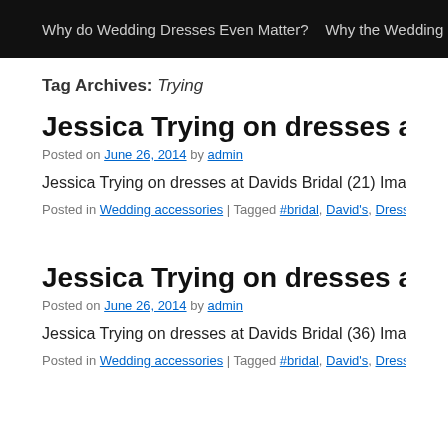Why do Wedding Dresses Even Matter?   Why the Wedding Gift you
Tag Archives: Trying
Jessica Trying on dresses at Davids Brid…
Posted on June 26, 2014 by admin
Jessica Trying on dresses at Davids Bridal (21) Image by Jacob…
Posted in Wedding accessories | Tagged #bridal, David's, Dresses, Jessica, T…
Jessica Trying on dresses at Davids Brid…
Posted on June 26, 2014 by admin
Jessica Trying on dresses at Davids Bridal (36) Image by Jacob…
Posted in Wedding accessories | Tagged #bridal, David's, Dresses, Jessica, T…